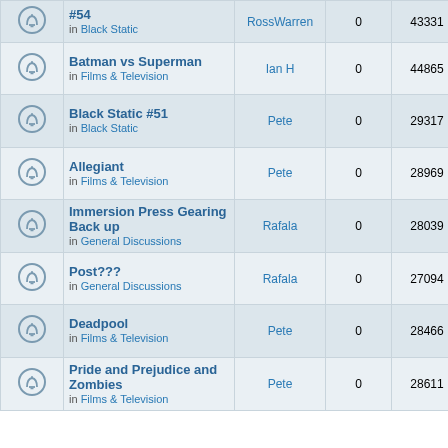|  | Topic | Author | Replies | Views | Last post |
| --- | --- | --- | --- | --- | --- |
| [icon] | #54 in Black Static | RossWarren | 0 | 43331 | am RossWarren →□ |
| [icon] | Batman vs Superman in Films & Television | Ian H | 0 | 44865 | Fri Apr 08, 2016 4:02 pm Ian H →□ |
| [icon] | Black Static #51 in Black Static | Pete | 0 | 29317 | Thu Mar 17, 2016 11:17 am Pete →□ |
| [icon] | Allegiant in Films & Television | Pete | 0 | 28969 | Thu Mar 10, 2016 11:20 am Pete →□ |
| [icon] | Immersion Press Gearing Back up in General Discussions | Rafala | 0 | 28039 | Thu Mar 03, 2016 9:59 am Rafala →□ |
| [icon] | Post??? in General Discussions | Rafala | 0 | 27094 | Thu Mar 03, 2016 9:48 am Rafala →□ |
| [icon] | Deadpool in Films & Television | Pete | 0 | 28466 | Thu Feb 11, 2016 9:33 am Pete →□ |
| [icon] | Pride and Prejudice and Zombies in Films & Television | Pete | 0 | 28611 | Thu Feb 11, 2016 9:30 am Pete →□ |